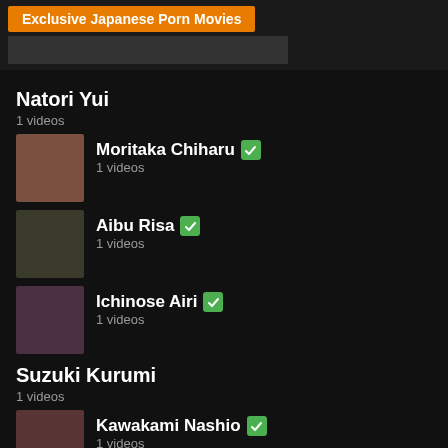[Figure (other): Banner with orange background text: Exclusive Japanese Porn Movies]
Natori Yui
1 videos
Moritaka Chiharu ✓
1 videos
Aibu Risa ✓
1 videos
Ichinose Airi ✓
1 videos
Suzuki Kurumi
1 videos
Kawakami Nashio ✓
1 videos
Yuu Kawakami (Shizuku-Morino) ✓
20 videos
Hinata Umi (Satou Yuri) (Komiyama Rika) ✓
2 videos